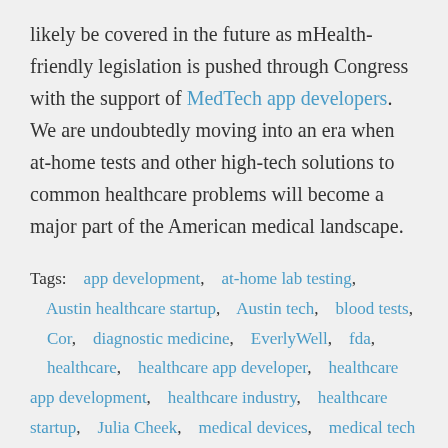likely be covered in the future as mHealth-friendly legislation is pushed through Congress with the support of MedTech app developers. We are undoubtedly moving into an era when at-home tests and other high-tech solutions to common healthcare problems will become a major part of the American medical landscape.
Tags: app development, at-home lab testing, Austin healthcare startup, Austin tech, blood tests, Cor, diagnostic medicine, EverlyWell, fda, healthcare, healthcare app developer, healthcare app development, healthcare industry, healthcare startup, Julia Cheek, medical devices, medical tech company, MedTech, MedTech app developer, mhealth, mhealth solution, mobile healthcare,